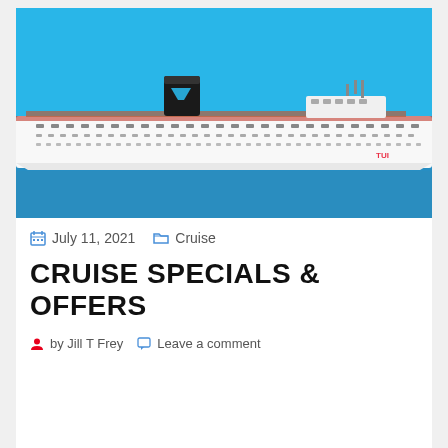[Figure (photo): A large white cruise ship with a TUI branding on the funnel, sailing on blue sea against a bright blue sky.]
July 11, 2021   Cruise
CRUISE SPECIALS & OFFERS
by Jill T Frey   Leave a comment